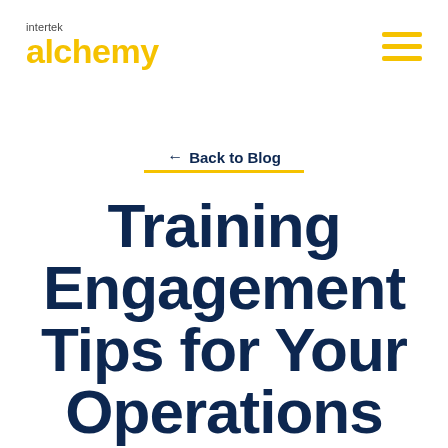intertek alchemy
← Back to Blog
Training Engagement Tips for Your Operations